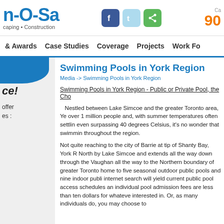n-O-Sa Landscaping • Construction | Ca... 90...
& Awards | Case Studies | Coverage | Projects | Work Fo...
Swimming Pools in York Region
Media -> Swimming Pools in York Region
Swimming Pools in York Region - Public or Private Pool, the Cho...
Nestled between Lake Simcoe and the greater Toronto area, Yo... over 1 million people and, with summer temperatures often settlin... even surpassing 40 degrees Celsius, it's no wonder that swimmin... throughout the region.
Not quite reaching to the city of Barrie at tip of Shanty Bay, York R... North by Lake Simcoe and extends all the way down through the... Vaughan all the way to the Northern boundary of greater Toronto... home to five seasonal outdoor public pools and nine indoor publi... internet search will yield current public pool access schedules an... individual pool admission fees are less than ten dollars for whateve... interested in. Or, as many individuals do, you may choose to...